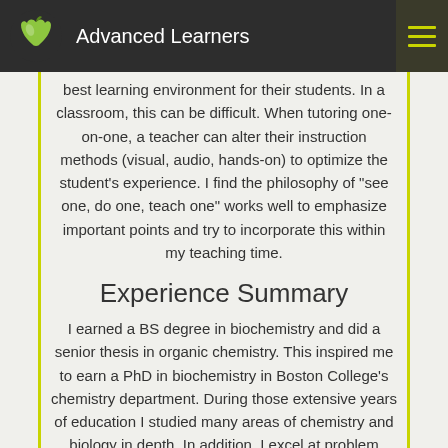Advanced Learners
best learning environment for their students. In a classroom, this can be difficult. When tutoring one-on-one, a teacher can alter their instruction methods (visual, audio, hands-on) to optimize the student's experience. I find the philosophy of "see one, do one, teach one" works well to emphasize important points and try to incorporate this within my teaching time.
Experience Summary
I earned a BS degree in biochemistry and did a senior thesis in organic chemistry. This inspired me to earn a PhD in biochemistry in Boston College's chemistry department. During those extensive years of education I studied many areas of chemistry and biology in depth. In addition, I excel at problem solving and research. My writing skills have been honed after